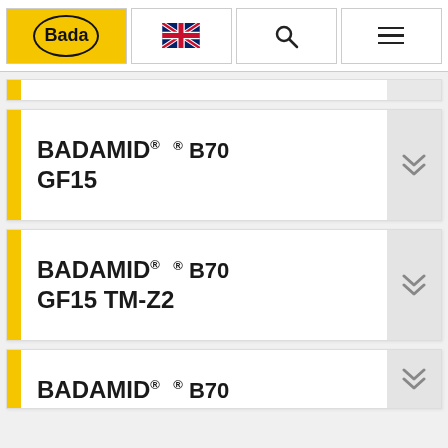[Figure (logo): Bada company logo - yellow oval with Bada text, navigation bar with UK flag, search icon, and hamburger menu]
BADAMID® ® B70 GF15
BADAMID® ® B70 GF15 TM-Z2
BADAMID® ® B70 (partial, cut off)